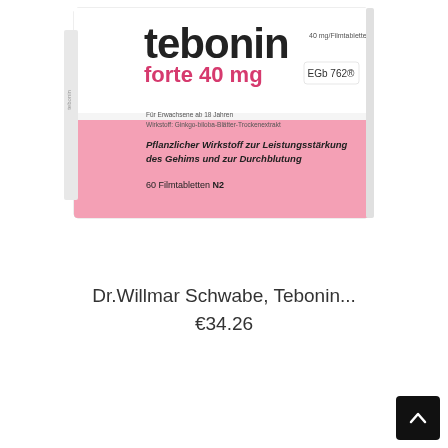[Figure (photo): Product photo of Tebonin forte 40 mg medication box by Dr. Willmar Schwabe. The box is white and pink, showing the brand name 'tebonin' in large text, 'forte 40 mg' below it, '40 mg/Filmtablette' on the right, 'EGb 762®' badge, text 'Für Erwachsene ab 18 Jahren, Wirkstoff: Ginkgo-biloba-Blätter-Trockenextrakt', italic text 'Pflanzlicher Wirkstoff zur Leistungsstärkung des Gehims und zur Durchblutung', and '60 Filmtabletten N2' at the bottom.]
Dr.Willmar Schwabe, Tebonin...
€34.26